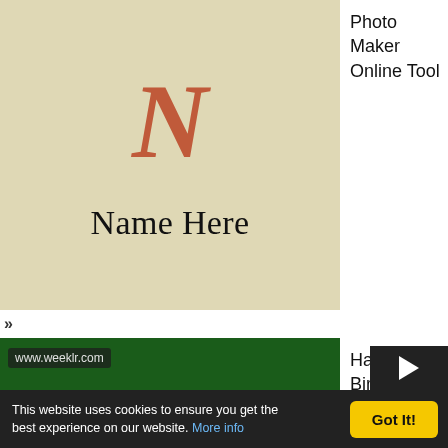[Figure (illustration): Beige/tan background card with a decorative red-brown gothic letter N and the text 'Name Here' below it]
Photo Maker Online Tool
»
[Figure (illustration): Dark green background with colorful birthday balloons (purple, green, light green, yellow, orange, red, pink, blue) with white strings, and www.weeklr.com watermark]
Happy Birthday Balloons
This website uses cookies to ensure you get the best experience on our website. More info
Got It!